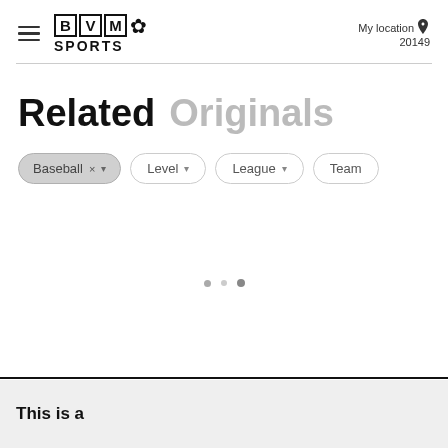BVM SPORTS — My location 20149
Related  Originals
Baseball × ▾  |  Level ▾  |  League ▾  |  Team
• - •
This is a screenshot of a website